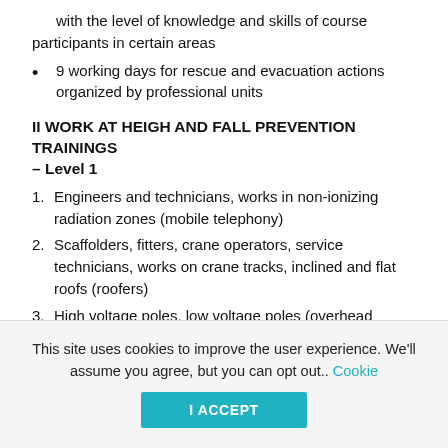with the level of knowledge and skills of course participants in certain areas
9 working days for rescue and evacuation actions organized by professional units
II WORK AT HEIGH AND FALL PREVENTION TRAININGS – Level 1
1. Engineers and technicians, works in non-ionizing radiation zones (mobile telephony)
2. Scaffolders, fitters, crane operators, service technicians, works on crane tracks, inclined and flat roofs (roofers)
3. High voltage poles, low voltage poles (overhead network)
This site uses cookies to improve the user experience. We'll assume you agree, but you can opt out.. Cookie
I ACCEPT